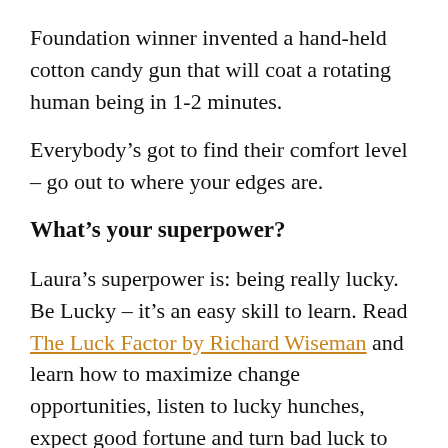Foundation winner invented a hand-held cotton candy gun that will coat a rotating human being in 1-2 minutes.
Everybody’s got to find their comfort level – go out to where your edges are.
What’s your superpower?
Laura’s superpower is: being really lucky. Be Lucky – it’s an easy skill to learn. Read The Luck Factor by Richard Wiseman and learn how to maximize change opportunities, listen to lucky hunches, expect good fortune and turn bad luck to good.
Twi about little tiny interactions.